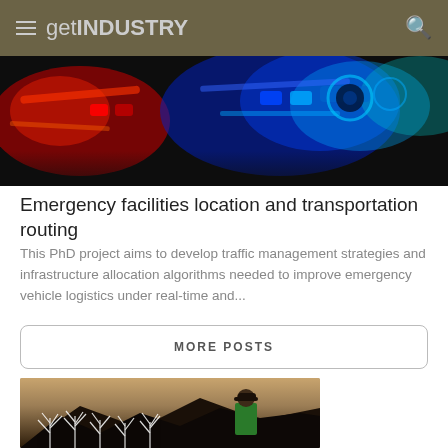get INDUSTRY
[Figure (photo): Police/emergency vehicle lights at night showing red and blue flashing lights]
Emergency facilities location and transportation routing
This PhD project aims to develop traffic management strategies and infrastructure allocation algorithms needed to improve emergency vehicle logistics under real-time and...
MORE POSTS
[Figure (photo): Person wearing a green shirt and dark cap standing outdoors near mountains with illustrated plant/grass overlays]